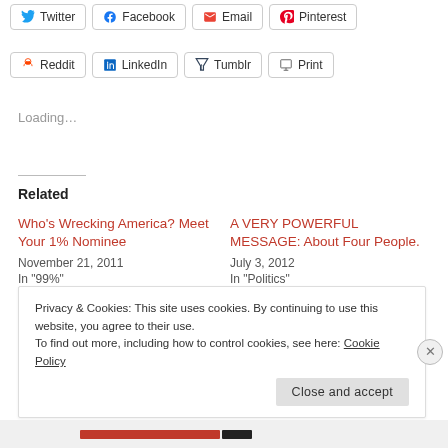[Figure (screenshot): Social share buttons row 1: Twitter, Facebook, Email, Pinterest]
[Figure (screenshot): Social share buttons row 2: Reddit, LinkedIn, Tumblr, Print]
Loading...
Related
Who’s Wrecking America? Meet Your 1% Nominee
November 21, 2011
In "99%"
A VERY POWERFUL MESSAGE: About Four People.
July 3, 2012
In "Politics"
Privacy & Cookies: This site uses cookies. By continuing to use this website, you agree to their use.
To find out more, including how to control cookies, see here: Cookie Policy
Close and accept